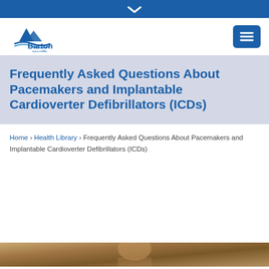▾
[Figure (logo): Barton Health logo with mountain/wave graphic and text 'Barton Health']
Frequently Asked Questions About Pacemakers and Implantable Cardioverter Defibrillators (ICDs)
Home › Health Library › Frequently Asked Questions About Pacemakers and Implantable Cardioverter Defibrillators (ICDs)
[Figure (photo): Partial photo of a person, cropped at bottom of page]